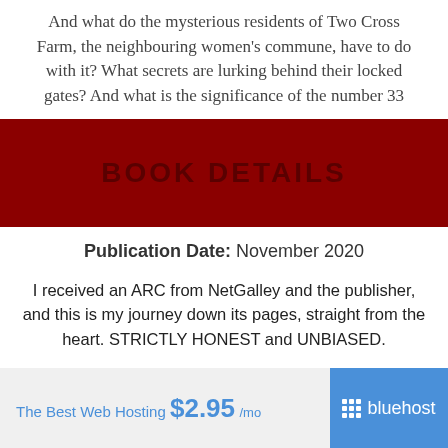And what do the mysterious residents of Two Cross Farm, the neighbouring women's commune, have to do with it? What secrets are lurking behind their locked gates? And what is the significance of the number 33
[Figure (other): Dark red/maroon banner with text 'BOOK DETAILS' in bold dark letters]
Publication Date: November 2020
I received an ARC from NetGalley and the publisher, and this is my journey down its pages, straight from the heart. STRICTLY HONEST and UNBIASED.
All my reviews can be found here.
[Figure (infographic): Advertisement banner for Bluehost web hosting: 'The Best Web Hosting $2.95 /mo' with Bluehost logo on blue background]